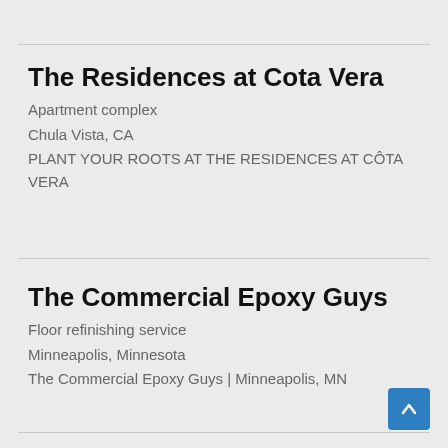The Residences at Cota Vera
Apartment complex
Chula Vista, CA
PLANT YOUR ROOTS AT THE RESIDENCES AT CÔTA VERA
The Commercial Epoxy Guys
Floor refinishing service
Minneapolis, Minnesota
The Commercial Epoxy Guys | Minneapolis, MN